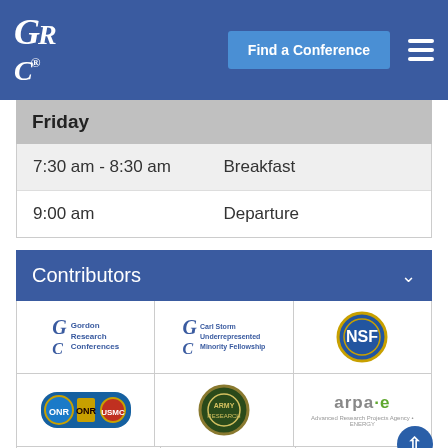GRC® | Find a Conference
Friday
| Time | Event |
| --- | --- |
| 7:30 am - 8:30 am | Breakfast |
| 9:00 am | Departure |
Contributors
[Figure (logo): Grid of sponsor/contributor logos including Gordon Research Conferences, Carl Storm Underrepresented Minority Fellowship, NSF, ONR, Army, ARPA-E, and a green plant logo]